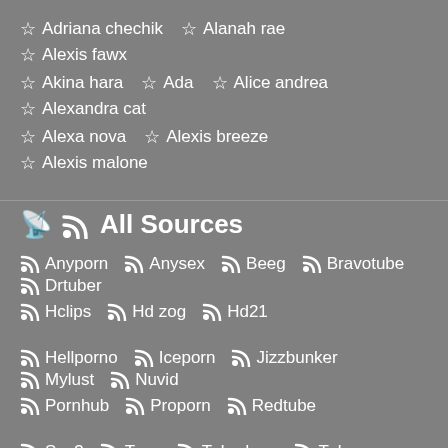☆ Adriana chechik  ☆ Alanah rae  ☆ Alexis fawx
☆ Akina hara  ☆ Ada  ☆ Alice andrea  ☆ Alexandra cat
☆ Alexa nova  ☆ Alexis breeze  ☆ Alexis malone
All Sources
Anyporn  Anysex  Beeg  Bravotube  Drtuber
Hclips  Hd zog  Hd21
Hellporno  Iceporn  Jizzbunker  Mylust  Nuvid
Pornhub  Proporn  Redtube
Sex3  Txxx  Tubedupe  Tubeon  Vivatube
Voyerhit  Winporn  Xbabe